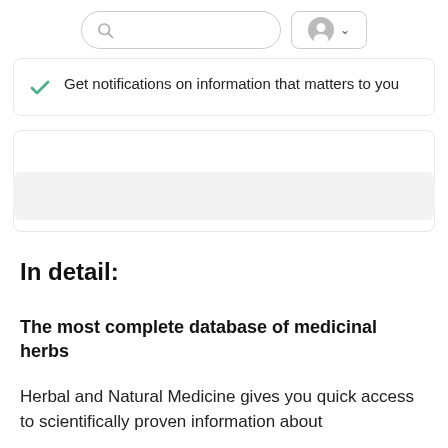[Search bar and profile button]
Get notifications on information that matters to you
In detail:
The most complete database of medicinal herbs
Herbal and Natural Medicine gives you quick access to scientifically proven information about